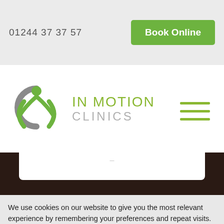01244 37 37 57
[Figure (logo): In Motion Clinics logo with stylized green and grey figure icon]
We use cookies on our website to give you the most relevant experience by remembering your preferences and repeat visits. By clicking “Accept All”, you consent to the use of ALL the cookies. Visit "Cookie Settings" to provide a controlled consent.
Cookie Settings
Accept All